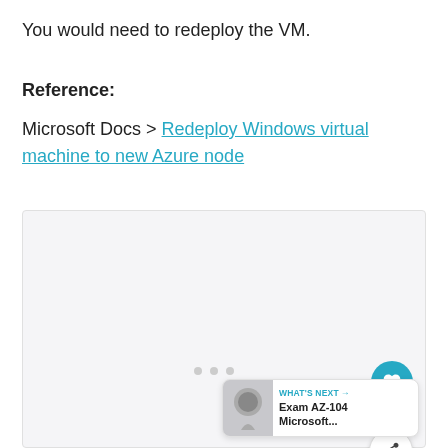You would need to redeploy the VM.
Reference:
Microsoft Docs > Redeploy Windows virtual machine to new Azure node
[Figure (screenshot): Screenshot area with UI overlay elements including a heart/like button with count of 1, a share button, navigation dots, and a 'What's Next' badge showing Exam AZ-104 Microsoft...]